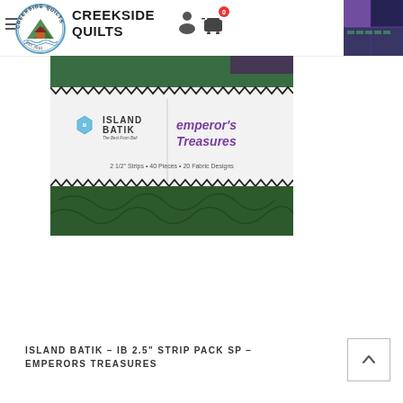CREEKSIDE QUILTS
[Figure (photo): Island Batik Emperor's Treasures 2.5" strip pack product image showing green batik fabric strips with Island Batik logo and text: 2 1/2" Strips • 40 Pieces • 20 Fabric Designs]
ISLAND BATIK – IB 2.5" STRIP PACK SP – EMPERORS TREASURES